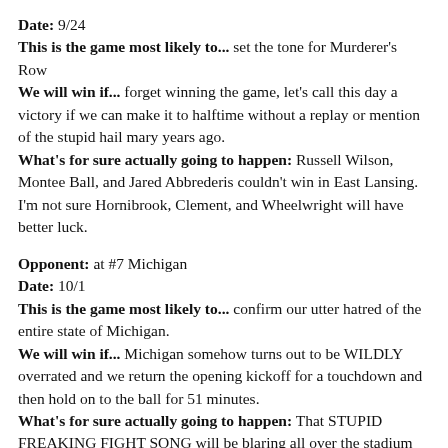Date: 9/24
This is the game most likely to... set the tone for Murderer's Row
We will win if... forget winning the game, let's call this day a victory if we can make it to halftime without a replay or mention of the stupid hail mary years ago.
What's for sure actually going to happen: Russell Wilson, Montee Ball, and Jared Abbrederis couldn't win in East Lansing. I'm not sure Hornibrook, Clement, and Wheelwright will have better luck.
Opponent: at #7 Michigan
Date: 10/1
This is the game most likely to... confirm our utter hatred of the entire state of Michigan.
We will win if... Michigan somehow turns out to be WILDLY overrated and we return the opening kickoff for a touchdown and then hold on to the ball for 51 minutes.
What's for sure actually going to happen: That STUPID FREAKING FIGHT SONG will be blaring all over the stadium nonstop and it won't be because we're doing good things.
Opponent: #6 OHIO STATE